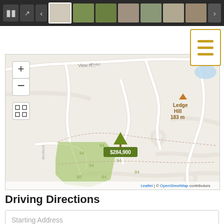[Figure (screenshot): Top navigation bar with pause button, expand button, back arrow, property photo thumbnails (one active white-bordered, several green/grey/house thumbnails), and forward arrow. Dark grey background.]
[Figure (map): OpenStreetMap showing a residential area with roads, a green park/conservation area labeled with parcel numbers (94), Ledge Hill 183m marker with triangle icon, a property pin (tree/house icon) with a $284,900 price label popup, zoom controls (+/-), fullscreen button, and attribution: Leaflet | © OpenStreetMap contributors. Street 'Bedford' visible on left, road 'View Road' partially visible top-left.]
Driving Directions
Starting Address
Get Directions